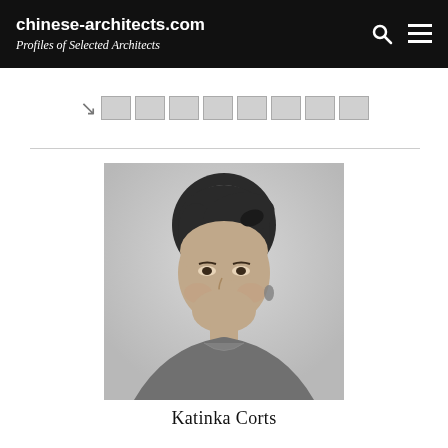chinese-architects.com
Profiles of Selected Architects
[Figure (other): Navigation bar with partially visible menu items shown as grey placeholder boxes]
[Figure (photo): Black and white headshot portrait of Katinka Corts, a young woman with dark hair pulled back, wearing a sleeveless top, photographed against a light grey background]
Katinka Corts